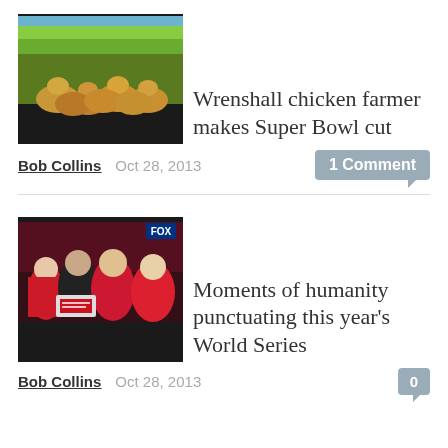[Figure (photo): Thumbnail image of chickens on a farm with green field background, black border at bottom]
Wrenshall chicken farmer makes Super Bowl cut
Bob Collins   Oct 28, 2013   1 Comment
[Figure (photo): Thumbnail image of a group of people at what appears to be a World Series baseball event, wearing red, holding signs]
Moments of humanity punctuating this year's World Series
Bob Collins   Oct 28, 2013   0